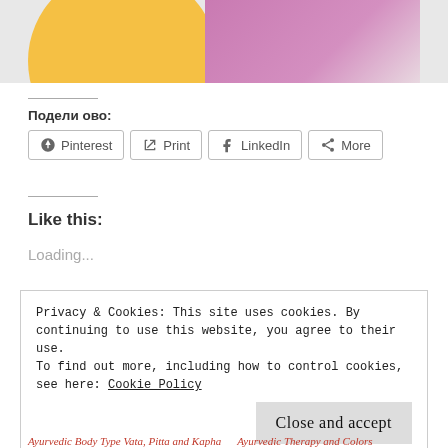[Figure (photo): Banner image with yellow circle containing text 'for Vata Diet' and a decorative icon, alongside a photo of a woman in a purple top with long hair, on a light background.]
Подели ово:
Pinterest  Print  LinkedIn  More
Like this:
Loading...
Privacy & Cookies: This site uses cookies. By continuing to use this website, you agree to their use.
To find out more, including how to control cookies, see here: Cookie Policy
Close and accept
Ayurvedic Body Type Vata, Pitta and Kapha
Ayurvedic Therapy and Colors